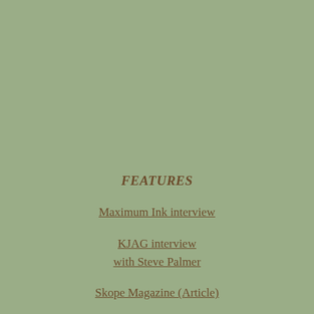FEATURES
Maximum Ink interview
KJAG interview
with Steve Palmer
Skope Magazine (Article)